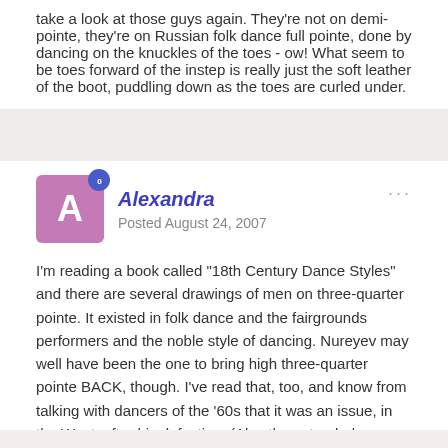take a look at those guys again. They're not on demi-pointe, they're on Russian folk dance full pointe, done by dancing on the knuckles of the toes - ow! What seem to be toes forward of the instep is really just the soft leather of the boot, puddling down as the toes are curled under.
Alexandra
Posted August 24, 2007
I'm reading a book called "18th Century Dance Styles" and there are several drawings of men on three-quarter pointe. It existed in folk dance and the fairgrounds performers and the noble style of dancing. Nureyev may well have been the one to bring high three-quarter pointe BACK, though. I've read that, too, and know from talking with dancers of the '60s that it was an issue, in the West, after his defection. (Also the extended, pointed foot; you can see this in photos.)